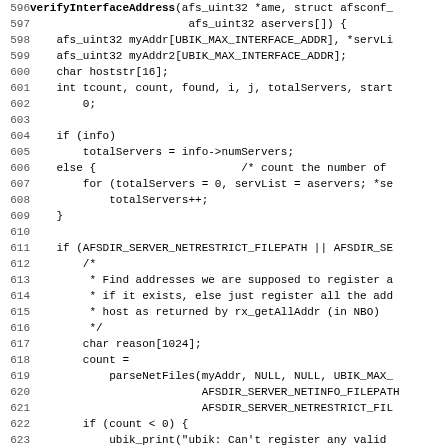[Figure (other): Source code listing lines 596-627, C programming language, showing verifyInterfaceAddress function]